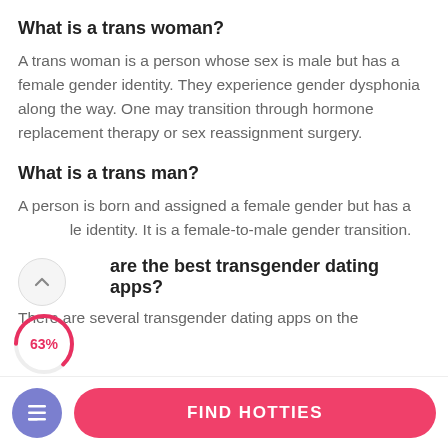What is a trans woman?
A trans woman is a person whose sex is male but has a female gender identity. They experience gender dysphonia along the way. One may transition through hormone replacement therapy or sex reassignment surgery.
What is a trans man?
A person is born and assigned a female gender but has a male identity. It is a female-to-male gender transition.
What are the best transgender dating apps?
There are several transgender dating apps on the
[Figure (other): Scroll-up chevron button (circle with up arrow)]
[Figure (donut-chart): 63% donut/progress indicator in pink/red]
FIND HOTTIES